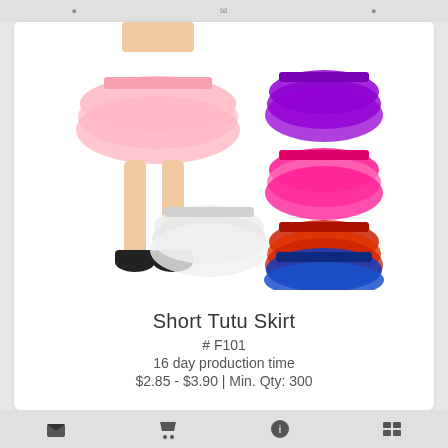[Figure (photo): Product photo of Short Tutu Skirts in multiple colors: pink (worn by model), purple, hot pink, red, white, and blue shown as individual skirts arranged in a collage]
Short Tutu Skirt
# F101
16 day production time
$2.85 - $3.90 | Min. Qty: 300